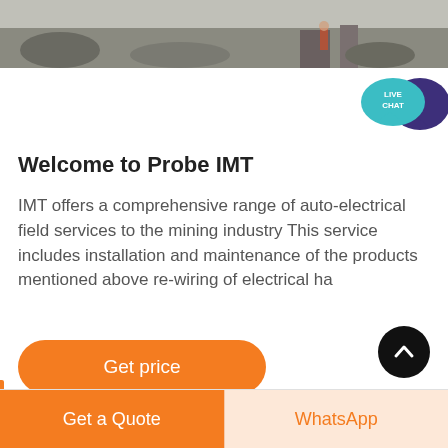[Figure (photo): Partial top strip photo of a mining or outdoor industrial scene, showing equipment and people in a rocky/snowy environment.]
[Figure (infographic): Live chat speech bubble icon with teal bubble labeled 'LIVE CHAT' and a dark purple speech bubble behind it.]
Welcome to Probe IMT
IMT offers a comprehensive range of auto-electrical field services to the mining industry This service includes installation and maintenance of the products mentioned above re-wiring of electrical ha
[Figure (other): Orange rounded rectangle button labeled 'Get price' in white text.]
[Figure (other): Black circular scroll-to-top button with white chevron/arrow pointing up.]
[Figure (other): Bottom navigation bar with two buttons: 'Get a Quote' (orange background, white text) and 'WhatsApp' (light peach background, orange text).]